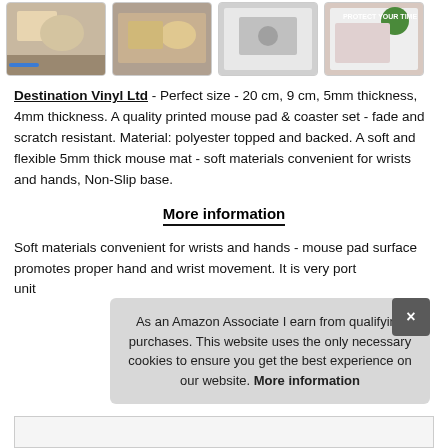[Figure (photo): Four product thumbnail images in a horizontal strip showing mouse pads and coasters]
Destination Vinyl Ltd - Perfect size - 20 cm, 9 cm, 5mm thickness, 4mm thickness. A quality printed mouse pad & coaster set - fade and scratch resistant. Material: polyester topped and backed. A soft and flexible 5mm thick mouse mat - soft materials convenient for wrists and hands, Non-Slip base.
More information
Soft materials convenient for wrists and hands - mouse pad surface promotes proper hand and wrist movement. It is very port unit
As an Amazon Associate I earn from qualifying purchases. This website uses the only necessary cookies to ensure you get the best experience on our website. More information